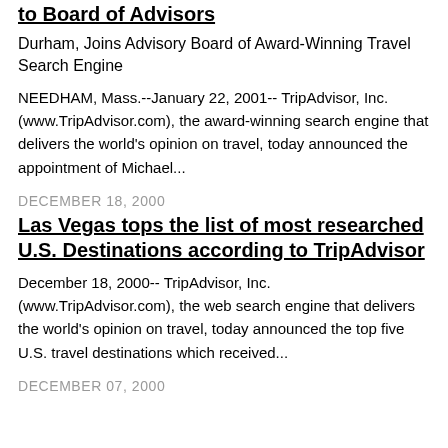to Board of Advisors
Durham, Joins Advisory Board of Award-Winning Travel Search Engine
NEEDHAM, Mass.--January 22, 2001-- TripAdvisor, Inc. (www.TripAdvisor.com), the award-winning search engine that delivers the world's opinion on travel, today announced the appointment of Michael...
DECEMBER 18, 2000
Las Vegas tops the list of most researched U.S. Destinations according to TripAdvisor
December 18, 2000-- TripAdvisor, Inc. (www.TripAdvisor.com), the web search engine that delivers the world's opinion on travel, today announced the top five U.S. travel destinations which received...
DECEMBER 07, 2000